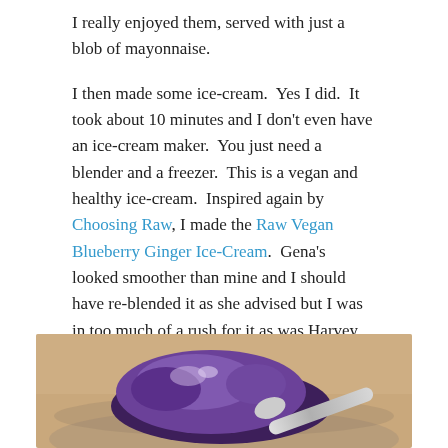I really enjoyed them, served with just a blob of mayonnaise.
I then made some ice-cream.  Yes I did.  It took about 10 minutes and I don't even have an ice-cream maker.  You just need a blender and a freezer.  This is a vegan and healthy ice-cream.  Inspired again by Choosing Raw, I made the Raw Vegan Blueberry Ginger Ice-Cream.  Gena's looked smoother than mine and I should have re-blended it as she advised but I was in too much of a rush for it as was Harvey who couldn't believe I made ice-cream.
[Figure (photo): Photo of blueberry ice-cream scoops in a glass bowl with a spoon, showing dark purple chunky texture on a tan/beige background]